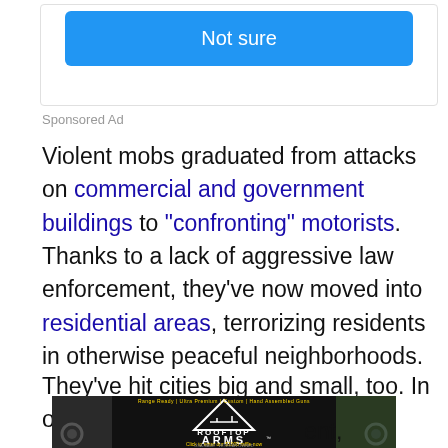[Figure (screenshot): Blue 'Not sure' button inside a white rounded box]
Sponsored Ad
Violent mobs graduated from attacks on commercial and government buildings to "confronting" motorists.  Thanks to a lack of aggressive law enforcement, they've now moved into residential areas, terrorizing residents in otherwise peaceful neighborhoods.
They've hit cities big and small, too. In other [partially obscured by ad] ...ent, ...marily
[Figure (screenshot): Rooftop Arms advertisement overlay showing logo, rifles, and promotional text]